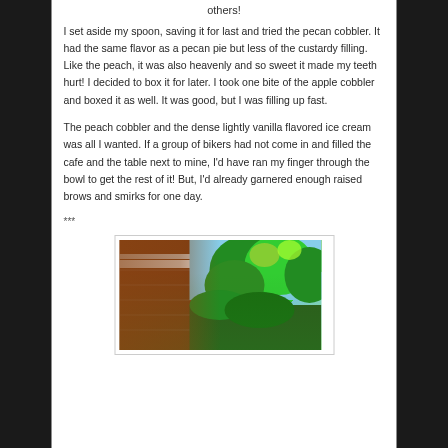others!
I set aside my spoon, saving it for last and tried the pecan cobbler. It had the same flavor as a pecan pie but less of the custardy filling. Like the peach, it was also heavenly and so sweet it made my teeth hurt! I decided to box it for later. I took one bite of the apple cobbler and boxed it as well. It was good, but I was filling up fast.
The peach cobbler and the dense lightly vanilla flavored ice cream was all I wanted. If a group of bikers had not come in and filled the cafe and the table next to mine, I'd have ran my finger through the bowl to get the rest of it! But, I'd already garnered enough raised brows and smirks for one day.
***
[Figure (photo): Outdoor photo showing a red brick building facade with white architectural trim/cornice details and green leafy trees visible in the background against a blue sky.]